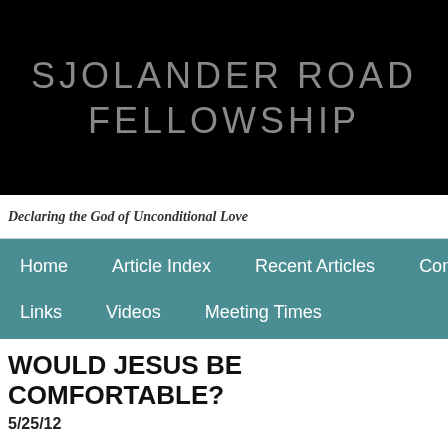SJOLANDER ROAD FELLOWSHIP
Declaring the God of Unconditional Love
Home   Article Index   Recent Articles   Cont   Links   Videos   Meeting Times
WOULD JESUS BE COMFORTABLE?
5/25/12
Occasionally someone will suggest that Jesus would not be welcome o our churches. I suspect that many who agree with that assertion, then a church would be the exception to that rule.